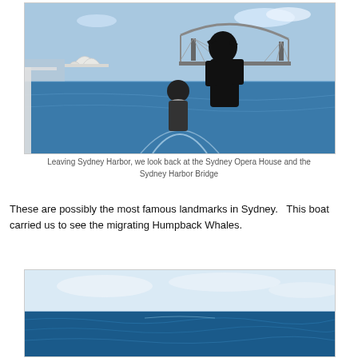[Figure (photo): Two people (silhouetted) on a boat looking back at Sydney Opera House and Sydney Harbour Bridge across the water, with the boat's wake visible.]
Leaving Sydney Harbor, we look back at the Sydney Opera House and the Sydney Harbor Bridge
These are possibly the most famous landmarks in Sydney.   This boat carried us to see the migrating Humpback Whales.
[Figure (photo): Open ocean scene with deep blue water under a pale sky, likely taken from a whale-watching boat.]